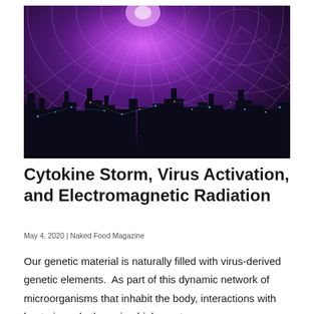[Figure (photo): Aerial night photograph of a city skyline overlaid with glowing purple and pink electromagnetic grid lines and light patterns radiating outward from a central point above the city.]
Cytokine Storm, Virus Activation, and Electromagnetic Radiation
May 4, 2020 | Naked Food Magazine
Our genetic material is naturally filled with virus-derived genetic elements.  As part of this dynamic network of microorganisms that inhabit the body, interactions with bacteria and other microbial agents